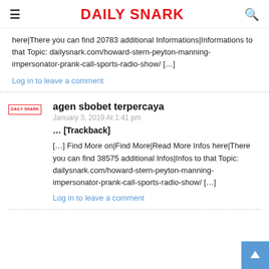Daily Snark
here|There you can find 20783 additional Informations|Informations to that Topic: dailysnark.com/howard-stern-peyton-manning-impersonator-prank-call-sports-radio-show/ […]
Log in to leave a comment
agen sbobet terpercaya
January 3, 2019 At 1:41 pm
… [Trackback]
[…] Find More on|Find More|Read More Infos here|There you can find 38575 additional Infos|Infos to that Topic: dailysnark.com/howard-stern-peyton-manning-impersonator-prank-call-sports-radio-show/ […]
Log in to leave a comment